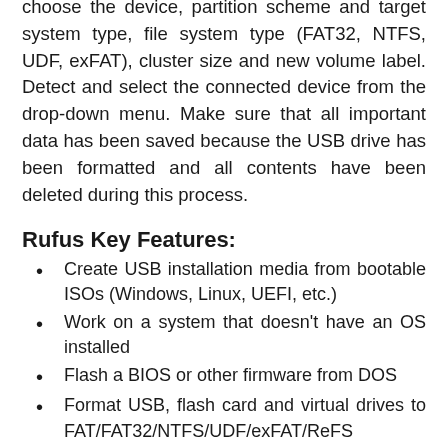choose the device, partition scheme and target system type, file system type (FAT32, NTFS, UDF, exFAT), cluster size and new volume label. Detect and select the connected device from the drop-down menu. Make sure that all important data has been saved because the USB drive has been formatted and all contents have been deleted during this process.
Rufus Key Features:
Create USB installation media from bootable ISOs (Windows, Linux, UEFI, etc.)
Work on a system that doesn't have an OS installed
Flash a BIOS or other firmware from DOS
Format USB, flash card and virtual drives to FAT/FAT32/NTFS/UDF/exFAT/ReFS